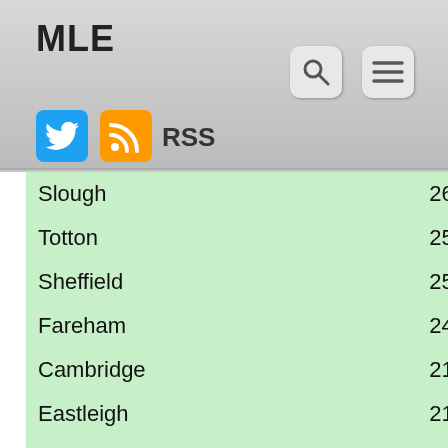MLE
| City | Value |
| --- | --- |
| Slough | 261 |
| Totton | 252 |
| Sheffield | 250 |
| Fareham | 246 |
| Cambridge | 219 |
| Eastleigh | 215 |
| Bude | 211 |
| Waterlooville | 209 |
| Liverpool | 202 |
| Poole | 198 |
| Aberdeen | 198 |
| Plymouth | 194 |
| Preston | 190 |
| Watford | 182 |
| Guildford | 180 |